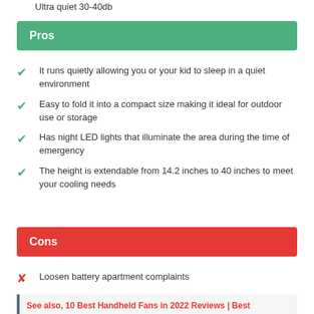Ultra quiet 30-40db
Pros
It runs quietly allowing you or your kid to sleep in a quiet environment
Easy to fold it into a compact size making it ideal for outdoor use or storage
Has night LED lights that illuminate the area during the time of emergency
The height is extendable from 14.2 inches to 40 inches to meet your cooling needs
Cons
Loosen battery apartment complaints
See also, 10 Best Handheld Fans in 2022 Reviews | Best